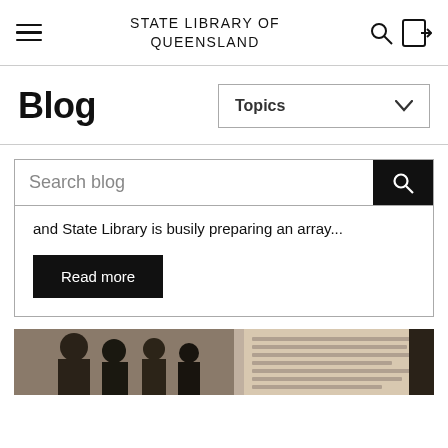STATE LIBRARY OF QUEENSLAND
Blog
Topics
Search blog
and State Library is busily preparing an array...
Read more
[Figure (photo): Vintage newspaper clipping with black and white photograph showing several men in suits, alongside what appears to be printed text and a dark book or document.]